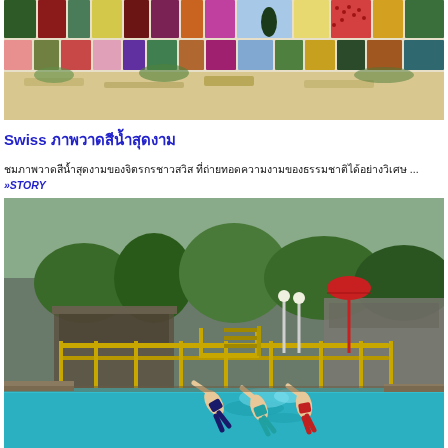[Figure (photo): Colorful abstract painting with rectangular blocks of various colors arranged in rows, resembling a stylized cityscape or garden]
Swiss ภาพวาดสีน้ำสุดงาม
ชมภาพวาดสีน้ำสุดงามของจิตรกรชาวสวิส ที่ถ่ายทอดความงามของธรรมชาติได้อย่างวิเศษ... »STORY
[Figure (photo): Outdoor swimming pool with turquoise water, yellow metal railings and diving platform, surrounded by trees and buildings. Two people are diving into the water.]